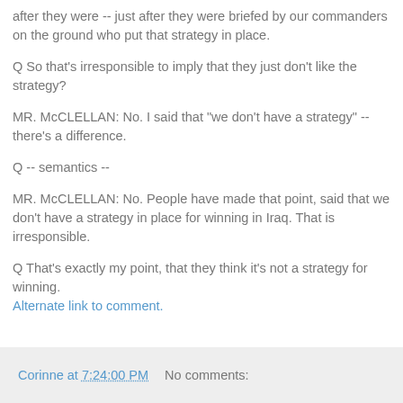after they were -- just after they were briefed by our commanders on the ground who put that strategy in place.
Q So that's irresponsible to imply that they just don't like the strategy?
MR. McCLELLAN: No. I said that "we don't have a strategy" -- there's a difference.
Q -- semantics --
MR. McCLELLAN: No. People have made that point, said that we don't have a strategy in place for winning in Iraq. That is irresponsible.
Q That's exactly my point, that they think it's not a strategy for winning.
Alternate link to comment.
Corinne at 7:24:00 PM   No comments: